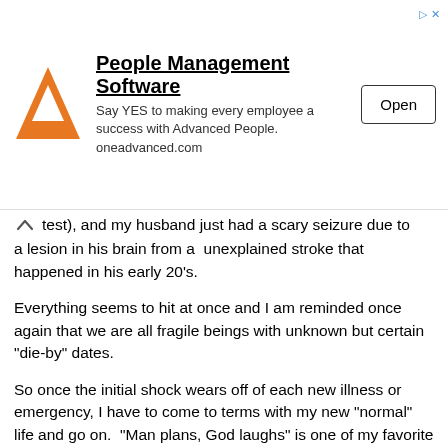[Figure (other): Advertisement banner for People Management Software (Advanced People / oneadvanced.com) with orange triangle logo and Open button]
test), and my husband just had a scary seizure due to a lesion in his brain from a  unexplained stroke that happened in his early 20's.
Everything seems to hit at once and I am reminded once again that we are all fragile beings with unknown but certain "die-by" dates.
So once the initial shock wears off of each new illness or emergency, I have to come to terms with my new "normal" life and go on.  "Man plans, God laughs" is one of my favorite sayings and it reminds this control freak that I can't control everything.  I know it is sappy, but I do think we should live each day as if it is our last.  Within reason of course.  ;-)
So what do I do?  In my case these stressful times remind